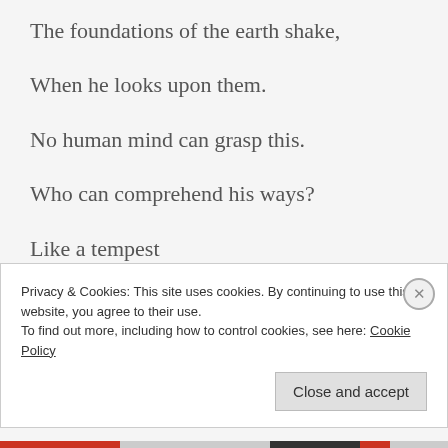The foundations of the earth shake,
When he looks upon them.
No human mind can grasp this.
Who can comprehend his ways?
Like a tempest
That no one can see
Privacy & Cookies: This site uses cookies. By continuing to use this website, you agree to their use.
To find out more, including how to control cookies, see here: Cookie Policy
Close and accept